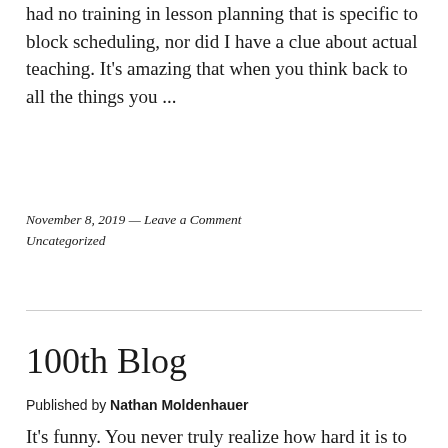had no training in lesson planning that is specific to block scheduling, nor did I have a clue about actual teaching. It's amazing that when you think back to all the things you ...
November 8, 2019 — Leave a Comment
Uncategorized
100th Blog
Published by Nathan Moldenhauer
It's funny. You never truly realize how hard it is to be objective until you are grading papers and tests. I